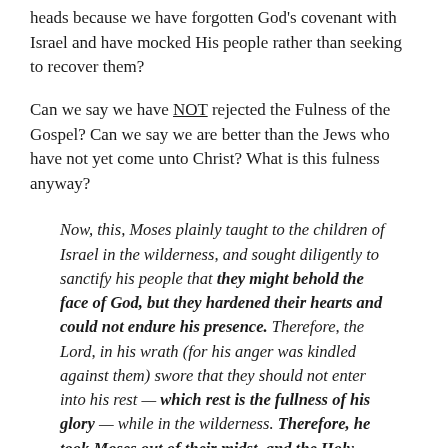heads because we have forgotten God's covenant with Israel and have mocked His people rather than seeking to recover them?
Can we say we have NOT rejected the Fulness of the Gospel? Can we say we are better than the Jews who have not yet come unto Christ? What is this fulness anyway?
Now, this, Moses plainly taught to the children of Israel in the wilderness, and sought diligently to sanctify his people that they might behold the face of God, but they hardened their hearts and could not endure his presence. Therefore, the Lord, in his wrath (for his anger was kindled against them) swore that they should not enter into his rest — which rest is the fullness of his glory — while in the wilderness. Therefore, he took Moses out of their midst, and the Holy Priesthood also. And the lesser priesthood continued, which